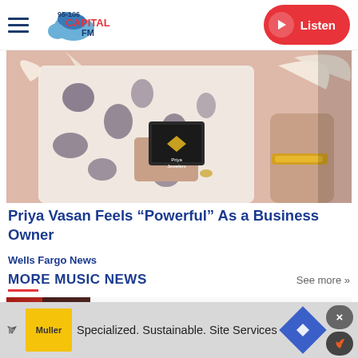95-106 Capital FM — Listen
[Figure (photo): Close-up photo of a woman in a floral dress holding a dark branded box (Priya Jewelers), with another person partially visible on the right wearing a gold bracelet.]
Priya Vasan Feels “Powerful” As a Business Owner
Wells Fargo News
MORE MUSIC NEWS
See more »
Demi Lovato Talks About Age-Gap
[Figure (photo): Thumbnail image of Demi Lovato against a red background]
Specialized. Sustainable. Site Services